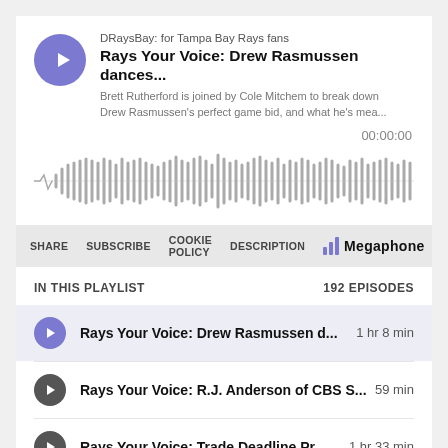DRaysBay: for Tampa Bay Rays fans
Rays Your Voice: Drew Rasmussen dances...
Brett Rutherford is joined by Cole Mitchem to break down Drew Rasmussen's perfect game bid, and what he's mea...
00:00:00
[Figure (other): Audio waveform visualization showing podcast episode playback bar]
SHARE  SUBSCRIBE  COOKIE POLICY  DESCRIPTION  Megaphone
IN THIS PLAYLIST   192 EPISODES
Rays Your Voice: Drew Rasmussen d...  1 hr 8 min
Rays Your Voice: R.J. Anderson of CBS S... 59 min
Rays Your Voice: Trade Deadline Pr...  1 hr 33 min
Rays Your Voice: FIRST HALF REVIE... 1 hr 40 min